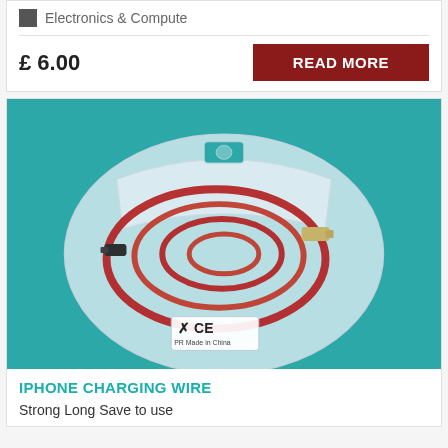Electronics & Compute
£ 6.00
READ MORE
[Figure (photo): iPhone charging wire (red braided cable) in a clear plastic resealable bag, with CE marking label, on a teal background]
IPHONE CHARGING WIRE
Strong Long Save to use